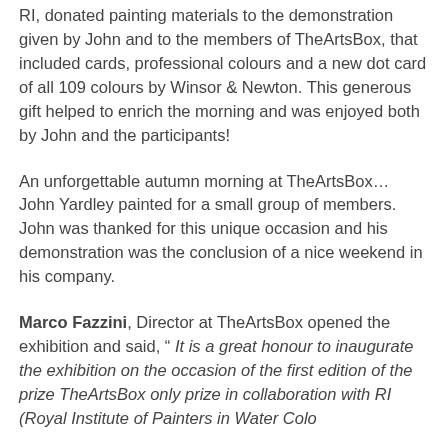RI, donated painting materials to the demonstration given by John and to the members of TheArtsBox, that included cards, professional colours and a new dot card of all 109 colours by Winsor & Newton. This generous gift helped to enrich the morning and was enjoyed both by John and the participants!
An unforgettable autumn morning at TheArtsBox… John Yardley painted for a small group of members. John was thanked for this unique occasion and his demonstration was the conclusion of a nice weekend in his company.
Marco Fazzini, Director at TheArtsBox opened the exhibition and said, " It is a great honour to inaugurate the exhibition on the occasion of the first edition of the prize TheArtsBox only prize in collaboration with RI (Royal Institute of Painters in Water Colours